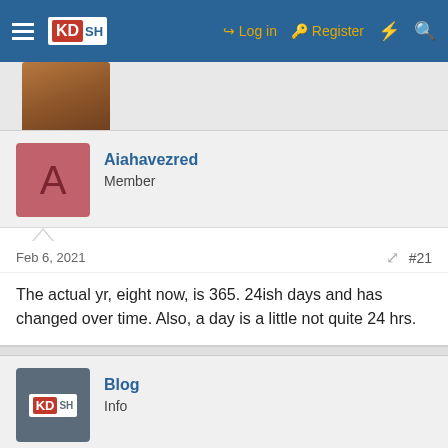KDSH — Log in | Register
[Figure (photo): Cropped avatar image from previous post, showing a person's face/shoulder]
Aiahavezred
Member
Feb 6, 2021   #21
The actual yr, eight now, is 365. 24ish days and has changed over time. Also, a day is a little not quite 24 hrs.
Blog
Info
KorbenDallas
KD